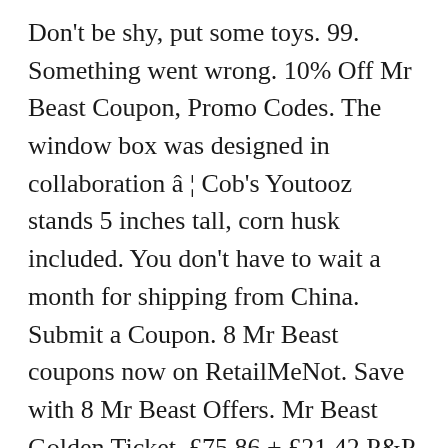Don't be shy, put some toys. 99. Something went wrong. 10% Off Mr Beast Coupon, Promo Codes. The window box was designed in collaboration â¦ Cob's Youtooz stands 5 inches tall, corn husk included. You don't have to wait a month for shipping from China. Submit a Coupon. 8 Mr Beast coupons now on RetailMeNot. Save with 8 Mr Beast Offers. Mr Beast Golden Ticket. £75.86 + £21.42 P&P . 10%. save. 3 months ago. dogs funny. Enable cookies to use the shopping cart NEW ! Meme. Limited Edition MrBeast drops Thursday! 3D Crystal Glass Trophy Laser 3 LED Battery Light Up Stand Base Display 2" x 2", RARE Large Antique Heubach Bisque Porcelain Crouching Girl Piano Baby Figurine. Pair Antique Gebruder